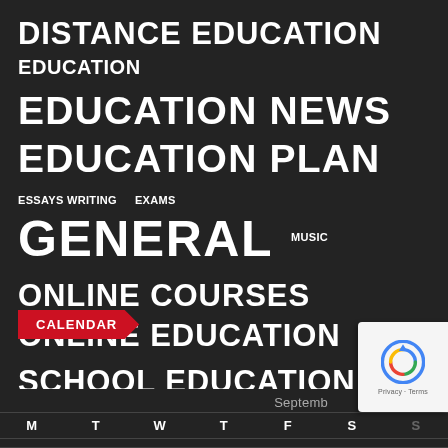DISTANCE EDUCATION
EDUCATION
EDUCATION NEWS
EDUCATION PLAN
ESSAYS WRITING
EXAMS
GENERAL
MUSIC
ONLINE COURSES
ONLINE EDUCATION
SCHOOL EDUCATION
SPECIAL EDUCATION
TRAINING AND DEVELOPMENT
CALENDAR
September
| M | T | W | T | F | S | S |
| --- | --- | --- | --- | --- | --- | --- |